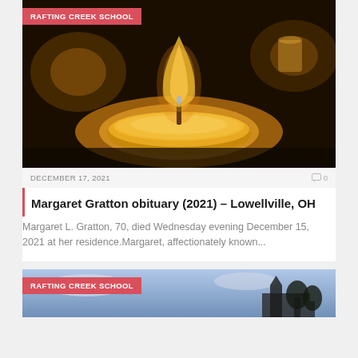[Figure (photo): Close-up photo of a lit tealight candle with warm glowing flame against a dark background]
RAFTING CREEK SCHOOL
DECEMBER 17, 2021
0
Margaret Gratton obituary (2021) – Lowellville, OH
Margaret L. Gratton, 70, died Wednesday evening December 15, 2021 at her residence.Margaret, affectionately known...
[Figure (photo): Partially visible photo, appears to be sky and building/structure]
RAFTING CREEK SCHOOL